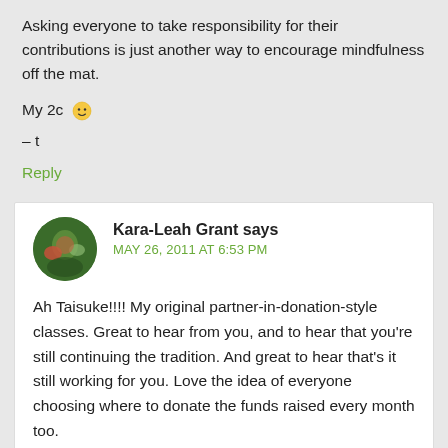Asking everyone to take responsibility for their contributions is just another way to encourage mindfulness off the mat.
My 2c 🙂
– t
Reply
Kara-Leah Grant says
MAY 26, 2011 AT 6:53 PM
Ah Taisuke!!!! My original partner-in-donation-style classes. Great to hear from you, and to hear that you're still continuing the tradition. And great to hear that's it still working for you. Love the idea of everyone choosing where to donate the funds raised every month too.